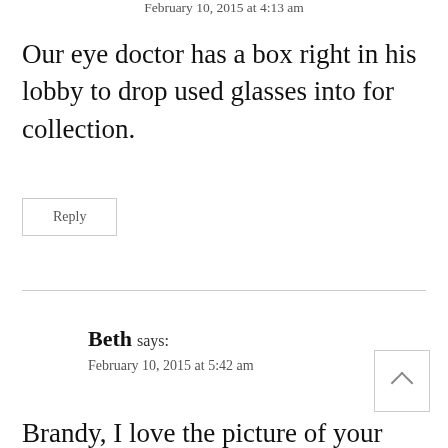February 10, 2015 at 4:13 am
Our eye doctor has a box right in his lobby to drop used glasses into for collection.
Reply
Beth says:
February 10, 2015 at 5:42 am
Brandy, I love the picture of your